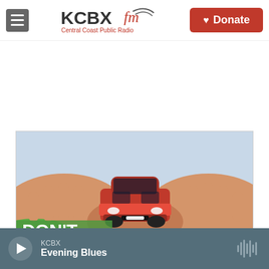KCBX FM - Central Coast Public Radio | Donate
[Figure (photo): Two cupped hands holding a small red toy car, suggesting car donation or car care. Text overlay reads DON'T at the bottom left.]
KCBX | Evening Blues